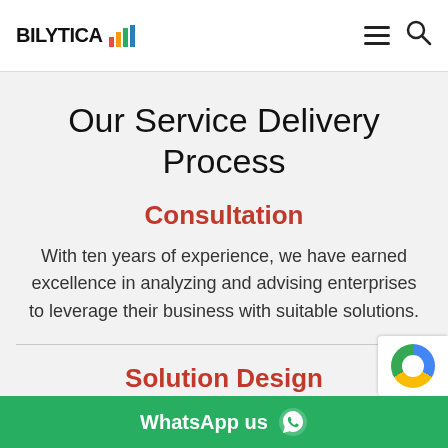BILYTICA [logo with bar chart icon] — hamburger menu — search icon
Our Service Delivery Process
Consultation
With ten years of experience, we have earned excellence in analyzing and advising enterprises to leverage their business with suitable solutions.
Solution Design
Our experts are designing appropriate architecture solutions to accelerate